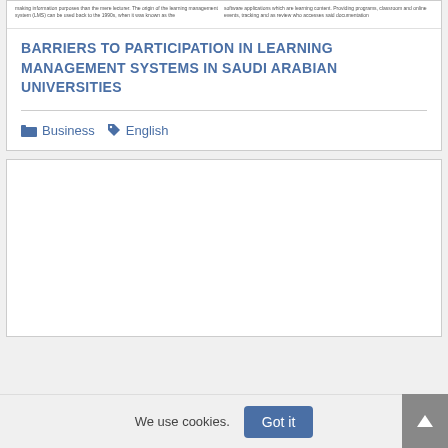[Figure (screenshot): Partial preview of document text in two columns, showing snippet of article content about learning management systems]
BARRIERS TO PARTICIPATION IN LEARNING MANAGEMENT SYSTEMS IN SAUDI ARABIAN UNIVERSITIES
Business  English
[Figure (screenshot): Empty white card/panel below the article entry]
We use cookies.
Got it